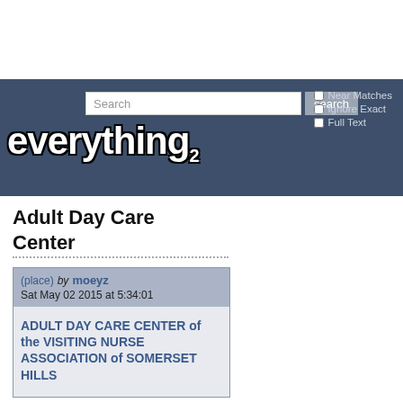[Figure (screenshot): Everything2 website header with search bar, checkboxes for Near Matches, Ignore Exact, Full Text, and the Everything2 logo in white bold text on dark blue background]
Adult Day Care Center
(place) by moeyz Sat May 02 2015 at 5:34:01
ADULT DAY CARE CENTER of the VISITING NURSE ASSOCIATION of SOMERSET HILLS